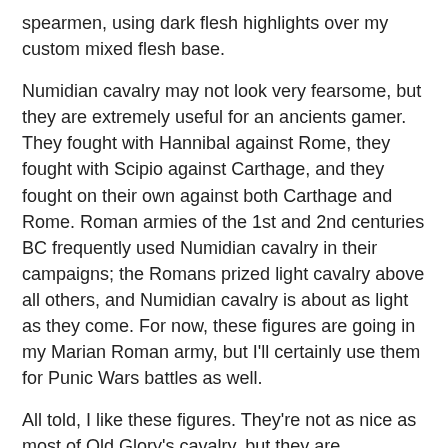spearmen, using dark flesh highlights over my custom mixed flesh base.
Numidian cavalry may not look very fearsome, but they are extremely useful for an ancients gamer. They fought with Hannibal against Rome, they fought with Scipio against Carthage, and they fought on their own against both Carthage and Rome. Roman armies of the 1st and 2nd centuries BC frequently used Numidian cavalry in their campaigns; the Romans prized light cavalry above all others, and Numidian cavalry is about as light as they come. For now, these figures are going in my Marian Roman army, but I'll certainly use them for Punic Wars battles as well.
All told, I like these figures. They're not as nice as most of Old Glory's cavalry, but they are servicable, and of course the price is right (these cost $1.80 apiece with my Old Glory Army discount). If you would like to try them, look in the "Caesar's Gallic War" range. For some reason, Old Glory put them there instead of with the Carthaginians, even though they formed the bulk of Hannibal's cavalry.